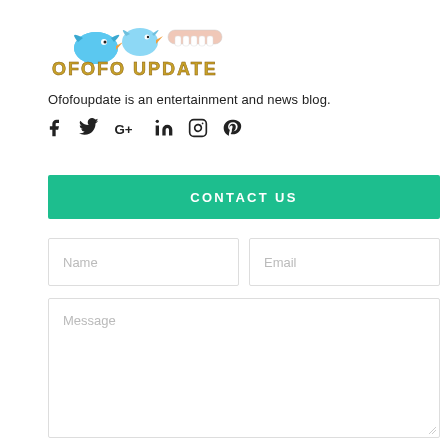[Figure (logo): Ofofo Update blog logo with two cartoon birds and a teeth graphic, text 'OFOFO UPDATE' in stylized gold font]
Ofofoupdate is an entertainment and news blog.
[Figure (infographic): Social media icons: Facebook, Twitter, Google+, LinkedIn, Instagram, Pinterest]
CONTACT US
Name
Email
Message